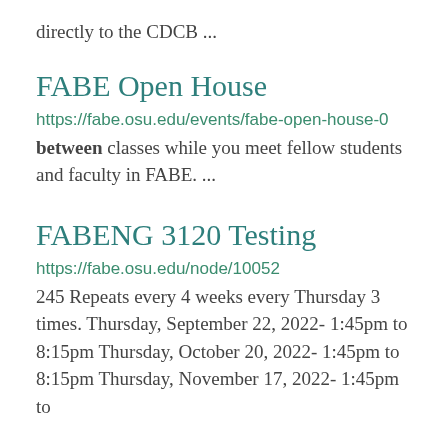directly to the CDCB ...
FABE Open House
https://fabe.osu.edu/events/fabe-open-house-0
between classes while you meet fellow students and faculty in FABE.  ...
FABENG 3120 Testing
https://fabe.osu.edu/node/10052
245 Repeats every 4 weeks every Thursday 3 times. Thursday, September 22, 2022- 1:45pm to 8:15pm Thursday, October 20, 2022- 1:45pm to 8:15pm Thursday, November 17, 2022- 1:45pm to